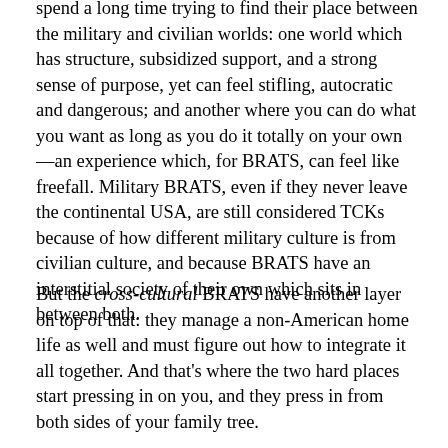spend a long time trying to find their place between the military and civilian worlds: one world which has structure, subsidized support, and a strong sense of purpose, yet can feel stifling, autocratic and dangerous; and another where you can do what you want as long as you do it totally on your own—an experience which, for BRATS, can feel like freefall. Military BRATS, even if they never leave the continental USA, are still considered TCKs because of how different military culture is from civilian culture, and because BRATS have an interstitial society of their own which sits in between both.
But the cross-cultural BRATS have another layer on top of that: they manage a non-American home life as well and must figure out how to integrate it all together. And that's where the two hard places start pressing in on you, and they press in from both sides of your family tree.